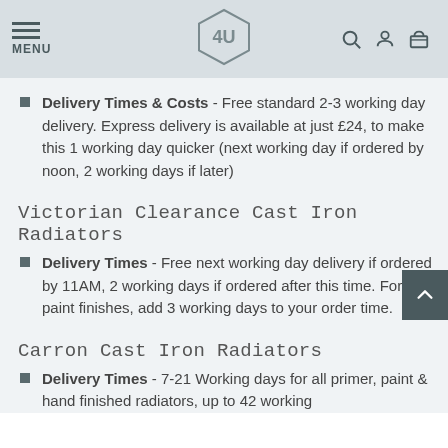MENU — navigation header with logo and icons
Delivery Times & Costs - Free standard 2-3 working day delivery. Express delivery is available at just £24, to make this 1 working day quicker (next working day if ordered by noon, 2 working days if later)
Victorian Clearance Cast Iron Radiators
Delivery Times - Free next working day delivery if ordered by 11AM, 2 working days if ordered after this time. For paint finishes, add 3 working days to your order time.
Carron Cast Iron Radiators
Delivery Times - 7-21 Working days for all primer, paint & hand finished radiators, up to 42 working